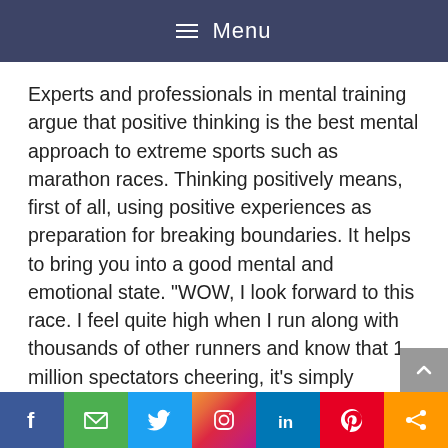≡ Menu
Experts and professionals in mental training argue that positive thinking is the best mental approach to extreme sports such as marathon races. Thinking positively means, first of all, using positive experiences as preparation for breaking boundaries. It helps to bring you into a good mental and emotional state. "WOW, I look forward to this race. I feel quite high when I run along with thousands of other runners and know that 1 million spectators cheering, it's simply fantastic."
Therefore, it will be very beneficial if you think